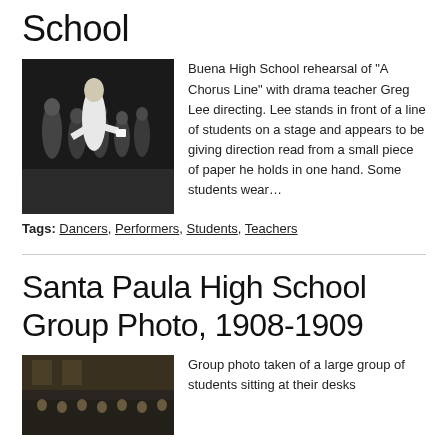School
[Figure (photo): Black and white photo of Buena High School rehearsal of A Chorus Line with drama teacher Greg Lee directing. Lee stands in front of a line of students on a stage.]
Buena High School rehearsal of "A Chorus Line" with drama teacher Greg Lee directing. Lee stands in front of a line of students on a stage and appears to be giving direction read from a small piece of paper he holds in one hand. Some students wear…
Tags: Dancers, Performers, Students, Teachers
Santa Paula High School Group Photo, 1908-1909
[Figure (photo): Group photo taken of a large group of students sitting at their desks]
Group photo taken of a large group of students sitting at their desks